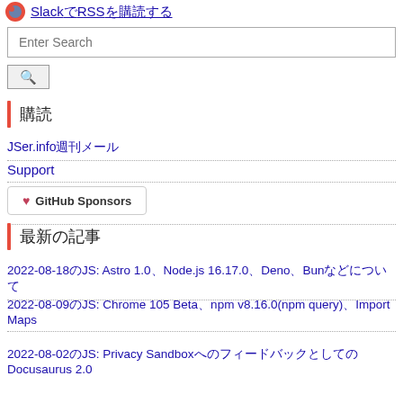SlackRSS購読する
Enter Search
購読
JSer.info週刊メール
Support
GitHub Sponsors
最新の記事
2022-08-18のJS: Astro 1.0、Node.js 16.17.0、Deno、Bunなどについて
2022-08-09のJS: Chrome 105 Beta、npm v8.16.0(npm query)、Import Maps
2022-08-02のJS: Privacy SandboxへのフィードバックとしてのDocusaurus 2.0